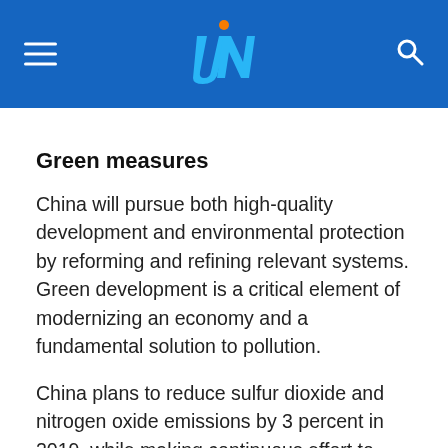UN header bar with logo and navigation
Green measures
China will pursue both high-quality development and environmental protection by reforming and refining relevant systems. Green development is a critical element of modernizing an economy and a fundamental solution to pollution.
China plans to reduce sulfur dioxide and nitrogen oxide emissions by 3 percent in 2019, while making continuous effort to decrease the density of PM 2.5, a major particle pollutant, in key locations, including the